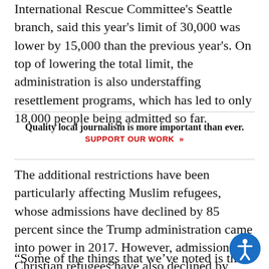International Rescue Committee's Seattle branch, said this year's limit of 30,000 was lower by 15,000 than the previous year's. On top of lowering the total limit, the administration is also understaffing resettlement programs, which has led to only 18,000 people being admitted so far.
Quality local journalism is more important than ever. SUPPORT OUR WORK »
The additional restrictions have been particularly affecting Muslim refugees, whose admissions have declined by 85 percent since the Trump administration came into power in 2017. However, admissions of Christian refugees have also declined by more than 35 percent, a demographic that includes persecuted Christian minorities.
“Some of the things that we’ve noted is that whilst